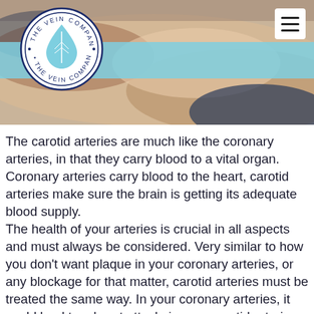[Figure (photo): Medical/health header image showing hands or arms, with a light blue banner overlay and The Vein Company logo circle on the left and a hamburger menu icon on the upper right.]
The carotid arteries are much like the coronary arteries, in that they carry blood to a vital organ. Coronary arteries carry blood to the heart, carotid arteries make sure the brain is getting its adequate blood supply.
The health of your arteries is crucial in all aspects and must always be considered. Very similar to how you don't want plaque in your coronary arteries, or any blockage for that matter, carotid arteries must be treated the same way. In your coronary arteries, it could lead to a heart attack, in your carotid arteries, it could lead to a stroke, or as some call it, a brain attack. Over time, the fatty substances or cholesterol build up around the walls of the carotid arteries and make them more narrow and harder for blood to travel through